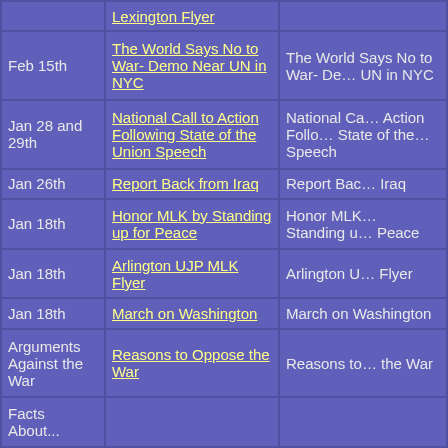| Date | Link (col1) | Link (col2) |
| --- | --- | --- |
|  | Lexington Flyer |  |
| Feb 15th | The World Says No to War- Demo Near UN in NYC | The World Says No to War- Demo Near UN in NYC |
| Jan 28 and 29th | National Call to Action Following State of the Union Speech | National Call to Action Following State of the Union Speech |
| Jan 26th | Report Back from Iraq | Report Back from Iraq |
| Jan 18th | Honor MLK by Standing up for Peace | Honor MLK by Standing up for Peace |
| Jan 18th | Arlington UJP MLK Flyer | Arlington UJP MLK Flyer |
| Jan 18th | March on Washington | March on Washington |
| Arguments Against the War | Reasons to Oppose the War | Reasons to Oppose the War |
| Facts About... |  |  |